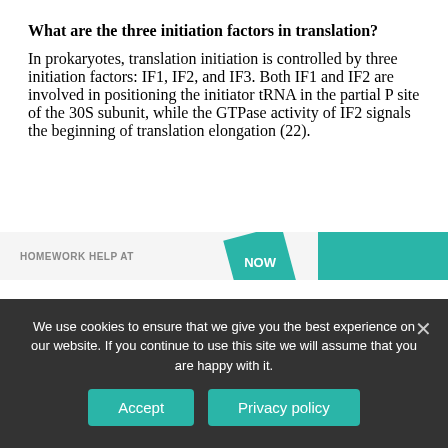What are the three initiation factors in translation?
In prokaryotes, translation initiation is controlled by three initiation factors: IF1, IF2, and IF3. Both IF1 and IF2 are involved in positioning the initiator tRNA in the partial P site of the 30S subunit, while the GTPase activity of IF2 signals the beginning of translation elongation (22).
[Figure (screenshot): Partial homework help banner with NOW promotional badge and teal box]
We use cookies to ensure that we give you the best experience on our website. If you continue to use this site we will assume that you are happy with it.